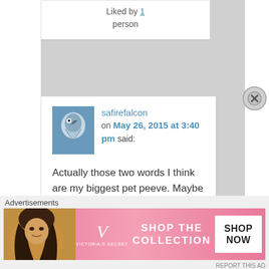Liked by 1 person
safirefalcon on May 26, 2015 at 3:40 pm said:
[Figure (photo): Avatar thumbnail of a falcon/hawk bird photo used as profile picture for user safirefalcon]
Actually those two words I think are my biggest pet peeve. Maybe because I've been seeing the word 'loose' used for
Advertisements
[Figure (photo): Victoria's Secret advertisement banner with a model, VS logo, text 'SHOP THE COLLECTION' and a white button 'SHOP NOW']